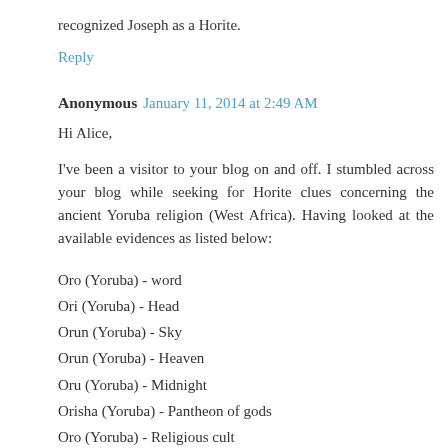recognized Joseph as a Horite.
Reply
Anonymous  January 11, 2014 at 2:49 AM
Hi Alice,
I've been a visitor to your blog on and off. I stumbled across your blog while seeking for Horite clues concerning the ancient Yoruba religion (West Africa). Having looked at the available evidences as listed below:
Oro (Yoruba) - word
Ori (Yoruba) - Head
Orun (Yoruba) - Sky
Orun (Yoruba) - Heaven
Oru (Yoruba) - Midnight
Orisha (Yoruba) - Pantheon of gods
Oro (Yoruba) - Religious cult
I can conclude that the Horites once settled in substantial